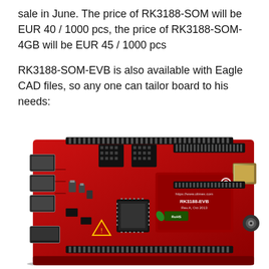sale in June. The price of RK3188-SOM will be EUR 40 / 1000 pcs, the price of RK3188-SOM-4GB will be EUR 45 / 1000 pcs
RK3188-SOM-EVB is also available with Eagle CAD files, so any one can tailor board to his needs:
[Figure (photo): Photo of the Olimex RK3188-EVB development board — a red PCB with USB ports on the left, GPIO headers along the top and bottom edges, an Ethernet port on the upper right, a processor chip in the center, and various other components.]